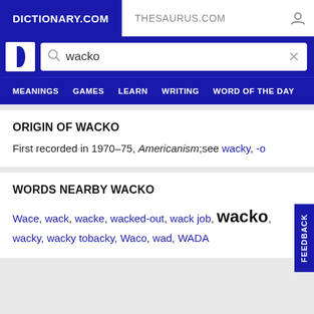DICTIONARY.COM | THESAURUS.COM
ORIGIN OF WACKO
First recorded in 1970–75, Americanism;see wacky, -o
WORDS NEARBY WACKO
Wace, wack, wacke, wacked-out, wack job, wacko, wacky, wacky tobacky, Waco, wad, WADA